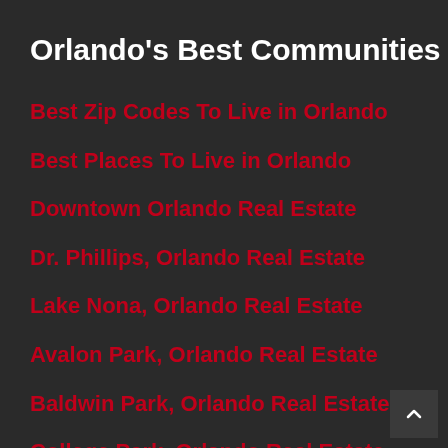Orlando's Best Communities
Best Zip Codes To Live in Orlando
Best Places To Live in Orlando
Downtown Orlando Real Estate
Dr. Phillips, Orlando Real Estate
Lake Nona, Orlando Real Estate
Avalon Park, Orlando Real Estate
Baldwin Park, Orlando Real Estate
College Park, Orlando Real Estate
Winter Garden, FL Real Estate & Homes For Sale